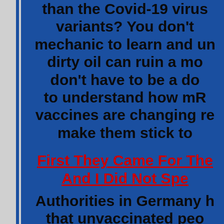than the Covid-19 virus variants? You don’t need to be a mechanic to learn and understand that dirty oil can ruin a motor. You don’t have to be a doctor to understand how mRNA vaccines are changing recipients to make them stick to...
First They Came For The... And I Did Not Speak...
Authorities in Germany have said that unvaccinated people will be banned from cinemas and restaurants, and that those who have been jabbed will have “more freedoms.” Merkel’s chief of staff...